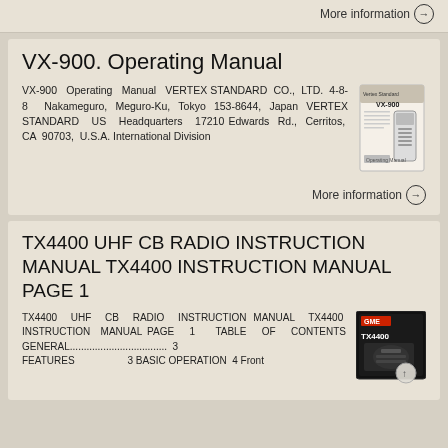More information →
VX-900. Operating Manual
VX-900 Operating Manual VERTEX STANDARD CO., LTD. 4-8-8 Nakameguro, Meguro-Ku, Tokyo 153-8644, Japan VERTEX STANDARD US Headquarters 17210 Edwards Rd., Cerritos, CA 90703, U.S.A. International Division
More information →
TX4400 UHF CB RADIO INSTRUCTION MANUAL TX4400 INSTRUCTION MANUAL PAGE 1
TX4400 UHF CB RADIO INSTRUCTION MANUAL TX4400 INSTRUCTION MANUAL PAGE 1 TABLE OF CONTENTS GENERAL.................................... 3 FEATURES 3 BASIC OPERATION 4 Front